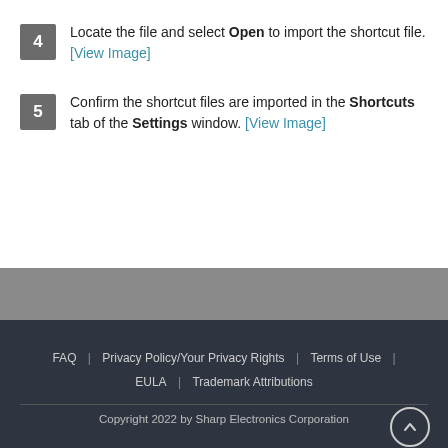4 Locate the file and select Open to import the shortcut file. [View Image]
5 Confirm the shortcut files are imported in the Shortcuts tab of the Settings window. [View Image]
FAQ | Privacy Policy/Your Privacy Rights | Terms of Use | EULA | Trademark Attributions
Copyright 2022 by Sharp Electronics Corporation